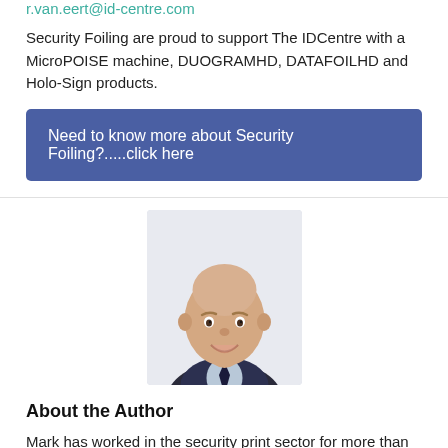r.van.eert@id-centre.com
Security Foiling are proud to support The IDCentre with a MicroPOISE machine, DUOGRAMHD, DATAFOILHD and Holo-Sign products.
Need to know more about Security Foiling?.....click here
[Figure (photo): Headshot photo of a bald man in a dark suit and tie, smiling at the camera against a light background.]
About the Author
Mark has worked in the security print sector for more than 21 years having previously occupied various roles in pre-press, production, and QA in print finishing,